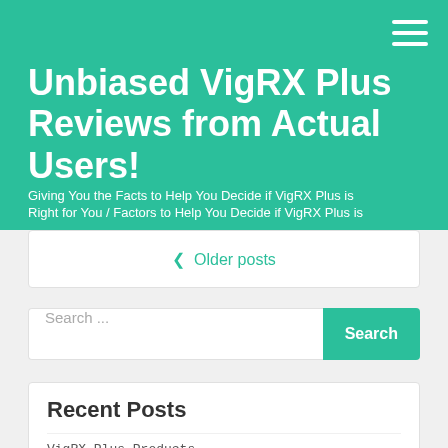Unbiased VigRX Plus Reviews from Actual Users!
Giving You the Facts to Help You Decide if VigRX Plus is Right for You / Factors to Help You Decide if VigRX Plus is
< Older posts
Search ...
Recent Posts
VigRX Plus Products
VigRX Plus User Stories & Results